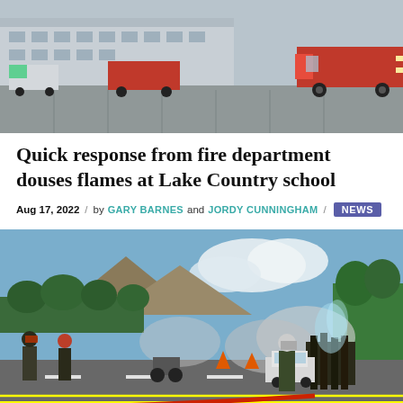[Figure (photo): Fire trucks parked in a school parking lot, with emergency vehicles lined up in front of a large building.]
Quick response from fire department douses flames at Lake Country school
Aug 17, 2022 / by GARY BARNES and JORDY CUNNINGHAM / NEWS
[Figure (photo): Firefighters in gear on a road with smoke, traffic cones, a car, and a burning hay bale or debris being doused with water. Mountains and trees visible in background.]